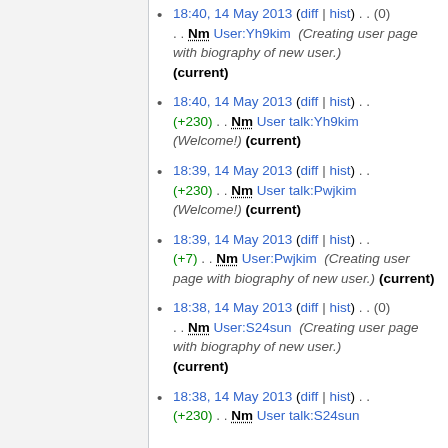18:40, 14 May 2013 (diff | hist) . . (0) . . Nm User:Yh9kim (Creating user page with biography of new user.) (current)
18:40, 14 May 2013 (diff | hist) . . (+230) . . Nm User talk:Yh9kim (Welcome!) (current)
18:39, 14 May 2013 (diff | hist) . . (+230) . . Nm User talk:Pwjkim (Welcome!) (current)
18:39, 14 May 2013 (diff | hist) . . (+7) . . Nm User:Pwjkim (Creating user page with biography of new user.) (current)
18:38, 14 May 2013 (diff | hist) . . (0) . . Nm User:S24sun (Creating user page with biography of new user.) (current)
18:38, 14 May 2013 (diff | hist) . . (+230) . . Nm User talk:S24sun